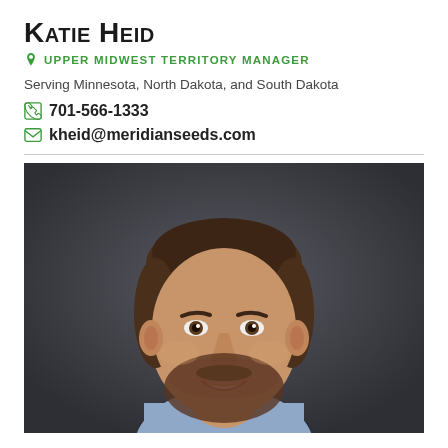Katie Heid
UPPER MIDWEST TERRITORY MANAGER
Serving Minnesota, North Dakota, and South Dakota
701-566-1333
kheid@meridianseeds.com
[Figure (photo): Professional headshot of a smiling man with short brown hair and a beard, wearing a blue shirt, against a dark gray background.]